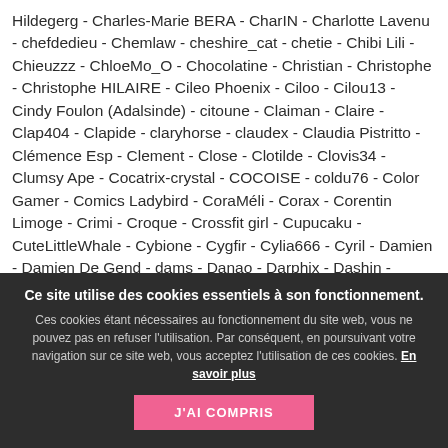Hildegerg - Charles-Marie BERA - CharIN - Charlotte Lavenu - chefdedieu - Chemlaw - cheshire_cat - chetie - Chibi Lili - Chieuzzz - ChloeMo_O - Chocolatine - Christian - Christophe - Christophe HILAIRE - Cileo Phoenix - Ciloo - Cilou13 - Cindy Foulon (Adalsinde) - citoune - Claiman - Claire - Clap404 - Clapide - claryhorse - claudex - Claudia Pistritto - Clémence Esp - Clement - Close - Clotilde - Clovis34 - Clumsy Ape - Cocatrix-crystal - COCOISE - coldu76 - Color Gamer - Comics Ladybird - CoraMéli - Corax - Corentin Limoge - Crimi - Croque - Crossfit girl - Cupucaku - CuteLittleWhale - Cybione - Cygfir - Cylia666 - Cyril - Damien - Damien De Gend - dams - Danao - Darphix - Dashin - daucrate - David Dattee - David Simone - David Vacher - Debora - Degvan - Deholia - Del - delbass - Dolff - Delphine Bouh - Democryte - Demnaws
Ce site utilise des cookies essentiels à son fonctionnement.
Ces cookies étant nécessaires au fonctionnement du site web, vous ne pouvez pas en refuser l'utilisation. Par conséquent, en poursuivant votre navigation sur ce site web, vous acceptez l'utilisation de ces cookies. En savoir plus
J'AI COMPRIS